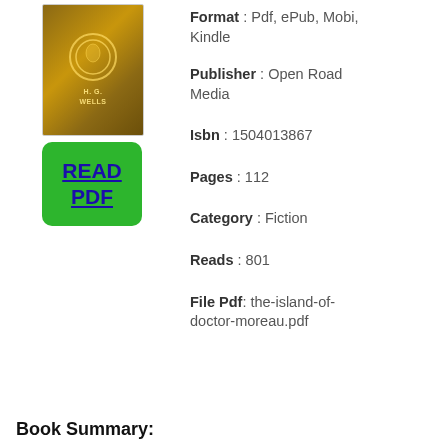[Figure (illustration): Book cover thumbnail for H.G. Wells' The Island of Doctor Moreau, gold/brown colored cover with ornamental circle design and author name]
[Figure (other): Green button with text READ PDF in blue underlined text]
Format : Pdf, ePub, Mobi, Kindle
Publisher : Open Road Media
Isbn : 1504013867
Pages : 112
Category : Fiction
Reads : 801
File Pdf: the-island-of-doctor-moreau.pdf
Book Summary: